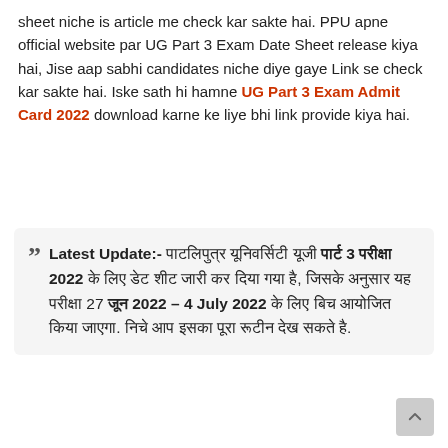sheet niche is article me check kar sakte hai. PPU apne official website par UG Part 3 Exam Date Sheet release kiya hai, Jise aap sabhi candidates niche diye gaye Link se check kar sakte hai. Iske sath hi hamne UG Part 3 Exam Admit Card 2022 download karne ke liye bhi link provide kiya hai.
Latest Update:- पाटलिपुत्र यूनिवर्सिटी यूजी पार्ट 3 परीक्षा 2022 के लिए डेट शीट जारी कर दिया गया है, जिसके अनुसार यह परीक्षा 27 जून 2022 – 4 July 2022 के लिए बिच आयोजित किया जाएगा. निचे आप इसका पूरा रूटीन देख सकते है.